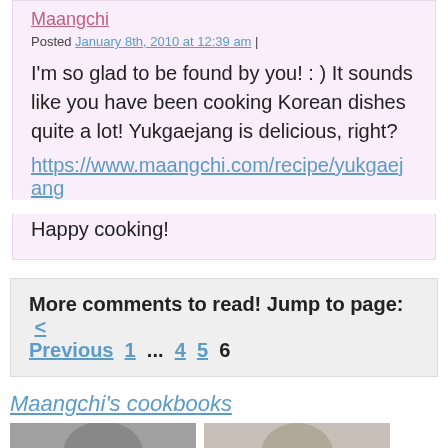Maangchi
Posted January 8th, 2010 at 12:39 am |
I'm so glad to be found by you! : ) It sounds like you have been cooking Korean dishes quite a lot! Yukgaejang is delicious, right?
https://www.maangchi.com/recipe/yukgaejang
Happy cooking!
More comments to read! Jump to page:  < Previous  1  ...  4  5  6
Maangchi's cookbooks